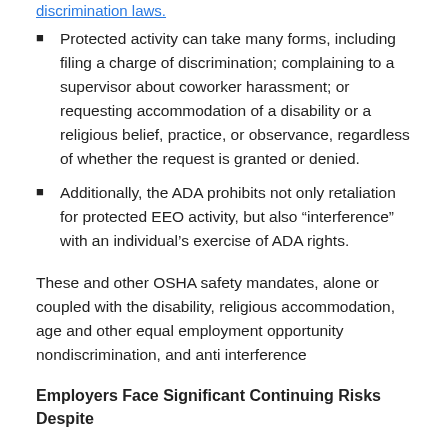discrimination laws.
Protected activity can take many forms, including filing a charge of discrimination; complaining to a supervisor about coworker harassment; or requesting accommodation of a disability or a religious belief, practice, or observance, regardless of whether the request is granted or denied.
Additionally, the ADA prohibits not only retaliation for protected EEO activity, but also “interference” with an individual’s exercise of ADA rights.
These and other OSHA safety mandates, alone or coupled with the disability, religious accommodation, age and other equal employment opportunity nondiscrimination, and anti interference
Employers Face Significant Continuing Risks Despite